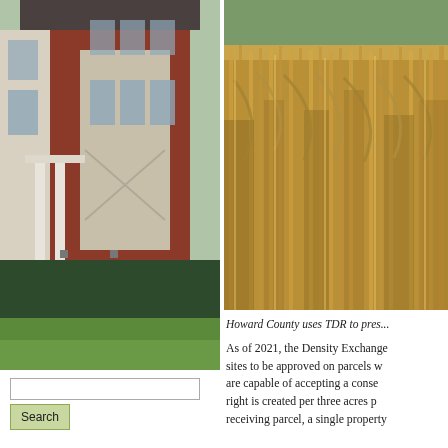[Figure (photo): Photo of a large brick house with white columns and porch, green hedge in front, green lawn]
[Figure (photo): Photo of a cornfield with dried corn stalks, close-up view]
Howard County uses TDR to pres...
As of 2021, the Density Exchange sites to be approved on parcels w are capable of accepting a conse right is created per three acres pr receiving parcel, a single property